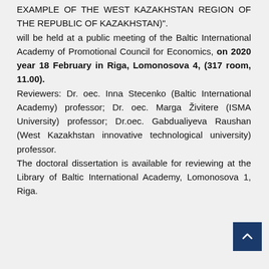EXAMPLE OF THE WEST KAZAKHSTAN REGION OF THE REPUBLIC OF KAZAKHSTAN)". will be held at a public meeting of the Baltic International Academy of Promotional Council for Economics, on 2020 year 18 February in Riga, Lomonosova 4, (317 room, 11.00). Reviewers: Dr. oec. Inna Stecenko (Baltic International Academy) professor; Dr. oec. Marga Živitere (ISMA University) professor; Dr.oec. Gabdualiyeva Raushan (West Kazakhstan innovative technological university) professor. The doctoral dissertation is available for reviewing at the Library of Baltic International Academy, Lomonosova 1, Riga.